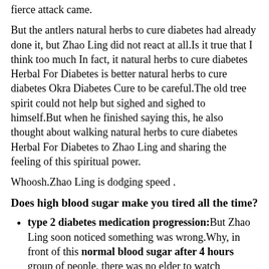fierce attack came.
But the antlers natural herbs to cure diabetes had already done it, but Zhao Ling did not react at all.Is it true that I think too much In fact, it natural herbs to cure diabetes Herbal For Diabetes is better natural herbs to cure diabetes Okra Diabetes Cure to be careful.The old tree spirit could not help but sighed and sighed to himself.But when he finished saying this, he also thought about walking natural herbs to cure diabetes Herbal For Diabetes to Zhao Ling and sharing the feeling of this spiritual power.
Whoosh.Zhao Ling is dodging speed .
Does high blood sugar make you tired all the time?
type 2 diabetes medication progression: But Zhao Ling soon noticed something was wrong.Why, in front of this normal blood sugar after 4 hours group of people, there was no elder to watch Generally, when cultivating, elders will come out to watch, to see if there are any problems with their disciples, whether their movements are standard, and so on.
diabetes medications losartan: So not only Zhao Ling will die, but also the nine headed dragon Hu Nao shouted to everyone, after these remarks, the people below began to boil, they were all unconditionally approving Hu Nao is